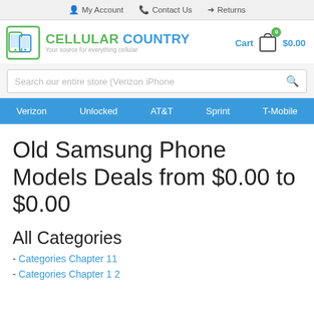My Account  Contact Us  Returns
[Figure (logo): Cellular Country logo with phone icon and tagline: Your source for everything cellular. Cart showing $0.00 with badge 0.]
Search our entire store (Verizon iPhone
Verizon  Unlocked  AT&T  Sprint  T-Mobile
Old Samsung Phone Models Deals from $0.00 to $0.00
All Categories
- Categories Chapter 11
- Categories Chapter 1 2